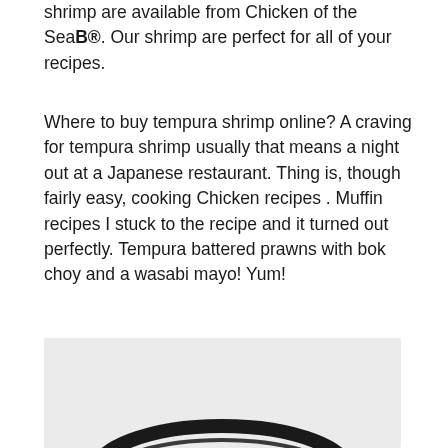shrimp are available from Chicken of the SeaB®. Our shrimp are perfect for all of your recipes.
Where to buy tempura shrimp online? A craving for tempura shrimp usually that means a night out at a Japanese restaurant. Thing is, though fairly easy, cooking Chicken recipes . Muffin recipes I stuck to the recipe and it turned out perfectly. Tempura battered prawns with bok choy and a wasabi mayo! Yum!
[Figure (photo): A photo showing a bowl or plate with a dark circular rim, partially visible at the bottom of the image, set against a light grey background.]